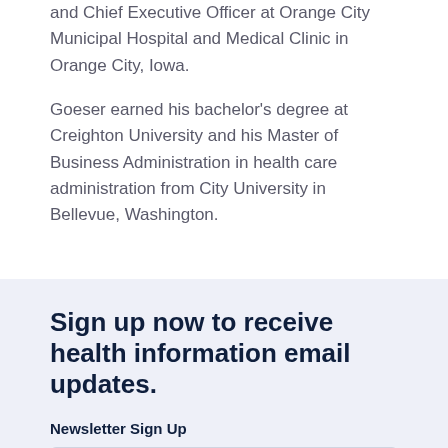and Chief Executive Officer at Orange City Municipal Hospital and Medical Clinic in Orange City, Iowa.
Goeser earned his bachelor's degree at Creighton University and his Master of Business Administration in health care administration from City University in Bellevue, Washington.
Sign up now to receive health information email updates.
Newsletter Sign Up